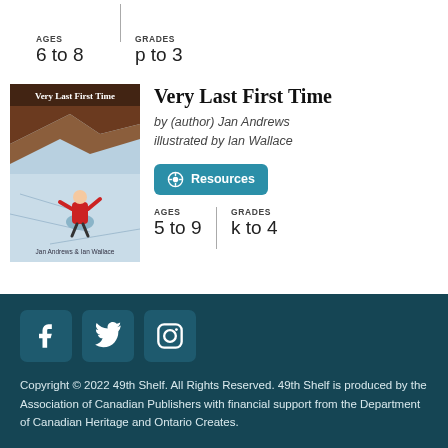AGES 6 to 8 | GRADES p to 3
[Figure (illustration): Book cover for 'Very Last First Time' showing an illustrated scene with a child in a red jacket on ice, by Jan Andrews & Ian Wallace]
Very Last First Time
by (author) Jan Andrews
illustrated by Ian Wallace
Resources
AGES 5 to 9 | GRADES k to 4
Copyright © 2022 49th Shelf. All Rights Reserved. 49th Shelf is produced by the Association of Canadian Publishers with financial support from the Department of Canadian Heritage and Ontario Creates.